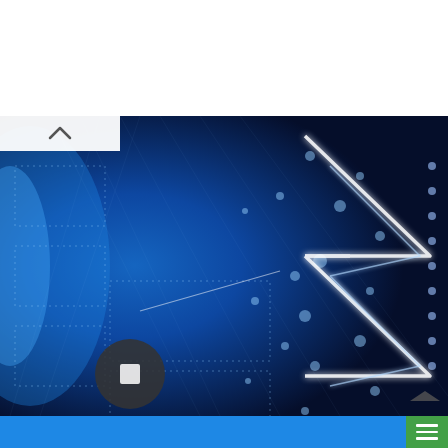[Figure (screenshot): Advertisement banner in top right area showing a black circular logo with infinity symbol, text 'Back To School Shopp...' and 'Leesburg Premium Outlets' in blue, with play and close icons on the left side.]
[Figure (illustration): Dark blue digital/tech background image with glowing neon sigma/arrow chevron shapes made of white light lines, dotted grid patterns, scattered blue circular dots, and particle effects suggesting data flow or network visualization. Left side has a small white tab with an up chevron arrow. Bottom left has a dark circular button with a square/pause icon. Bottom right has a small dark triangle/play icon.]
[Figure (screenshot): Bright blue banner strip at the bottom of the page with a green button on the right side showing horizontal lines (hamburger menu icon).]